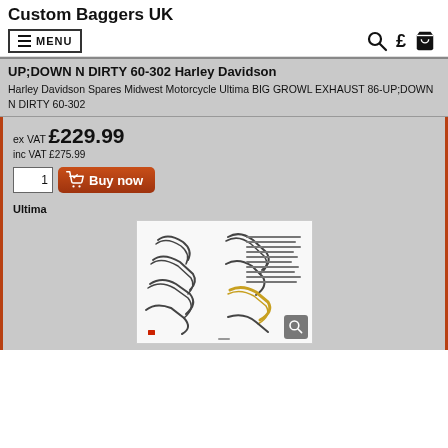Custom Baggers UK
MENU (navigation bar with search, currency, and cart icons)
UP;DOWN N DIRTY 60-302 Harley Davidson
Harley Davidson Spares Midwest Motorcycle Ultima BIG GROWL EXHAUST 86-UP;DOWN N DIRTY 60-302
ex VAT £229.99
inc VAT £275.99
Buy now
Ultima
[Figure (photo): Product catalog page showing exhaust pipe components/shapes for Harley Davidson motorcycles]